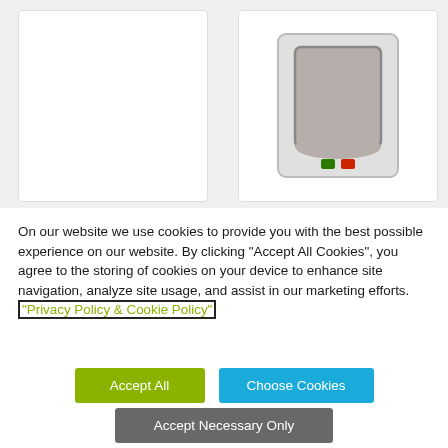[Figure (photo): Two product cards side by side: left card is empty white box, right card shows a white cat flap/door with gray flap and colored locking indicators (green and red)]
On our website we use cookies to provide you with the best possible experience on our website. By clicking "Accept All Cookies", you agree to the storing of cookies on your device to enhance site navigation, analyze site usage, and assist in our marketing efforts. "Privacy Policy & Cookie Policy"
Accept All
Choose Cookies
Accept Necessary Only